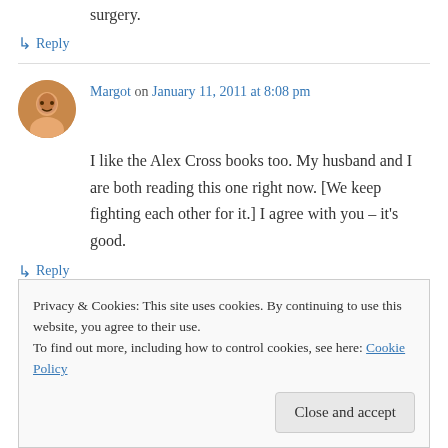surgery.
↳ Reply
Margot on January 11, 2011 at 8:08 pm
I like the Alex Cross books too. My husband and I are both reading this one right now. [We keep fighting each other for it.] I agree with you – it's good.
↳ Reply
Privacy & Cookies: This site uses cookies. By continuing to use this website, you agree to their use. To find out more, including how to control cookies, see here: Cookie Policy
Close and accept